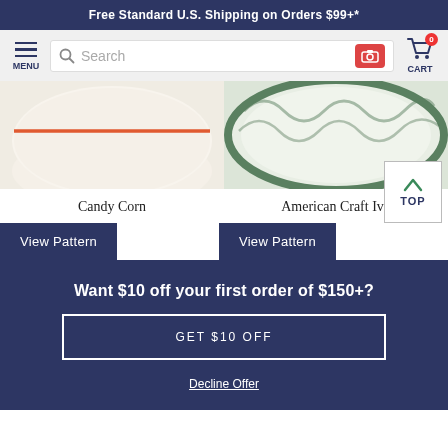Free Standard U.S. Shipping on Orders $99+*
[Figure (screenshot): Navigation bar with menu icon, search bar with camera button, and cart icon showing 0 items]
[Figure (photo): Two product images side by side: left shows a cream colored bowl with orange stripe (Candy Corn pattern), right shows a plate with green ivy pattern (American Craft Ivy)]
Candy Corn
American Craft Ivy
View Pattern
View Pattern
Want $10 off your first order of $150+?
GET $10 OFF
Decline Offer